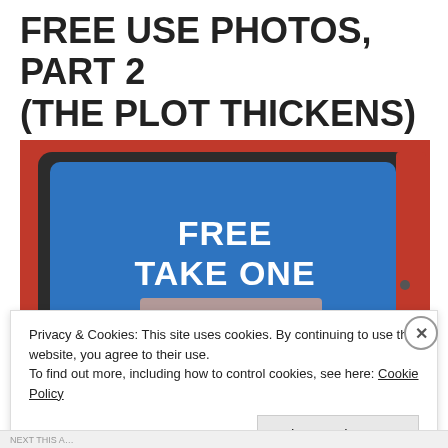FREE USE PHOTOS, PART 2 (THE PLOT THICKENS)
[Figure (photo): A red newspaper/flyer vending box with a blue panel reading FREE TAKE ONE in bold white text, and a frosted/empty display window below it. The box appears empty.]
Privacy & Cookies: This site uses cookies. By continuing to use this website, you agree to their use.
To find out more, including how to control cookies, see here: Cookie Policy
Close and accept